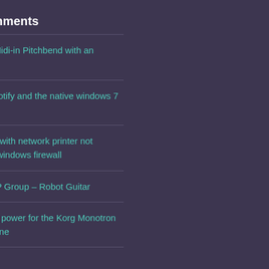Recent Comments
Brynjulf Blix on Midi-in Pitchbend with an Arduino
Nick Patel on Spotify and the native windows 7 firewall
jhon on Problem with network printer not printing through windows firewall
Luqman on M@P Group – Robot Guitar
Arne on External power for the Korg Monotron and the Stylophone